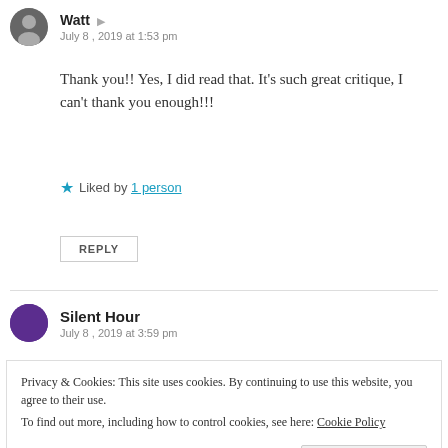Watt
July 8, 2019 at 1:53 pm
Thank you!! Yes, I did read that. It's such great critique, I can't thank you enough!!!
★ Liked by 1 person
REPLY
Silent Hour
July 8, 2019 at 3:59 pm
Privacy & Cookies: This site uses cookies. By continuing to use this website, you agree to their use. To find out more, including how to control cookies, see here: Cookie Policy
Close and accept